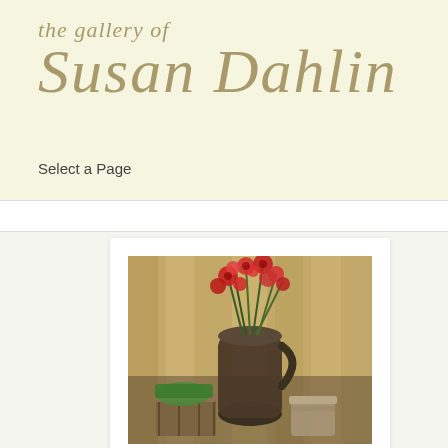[Figure (logo): The gallery of Susan Dahlin logo in italic cursive gold/olive colored text on cream background]
Select a Page
[Figure (illustration): Oil painting titled 'In The Barn' showing red flowers in a dark vase/jug, with a wooden crate containing green plants, and a metal bucket, all with a barn wood background]
In The Barn
Oil on Linen
36" x 48"